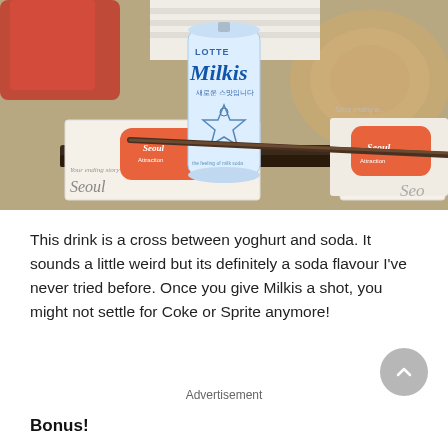[Figure (photo): Photo of a Lotte Milkis can (white/blue) standing upright amid several Seoul Attraction booklets/brochures with orange logos. Background shows a wooden surface and rolled fabric.]
This drink is a cross between yoghurt and soda. It sounds a little weird but its definitely a soda flavour I've never tried before. Once you give Milkis a shot, you might not settle for Coke or Sprite anymore!
Advertisement
Bonus!